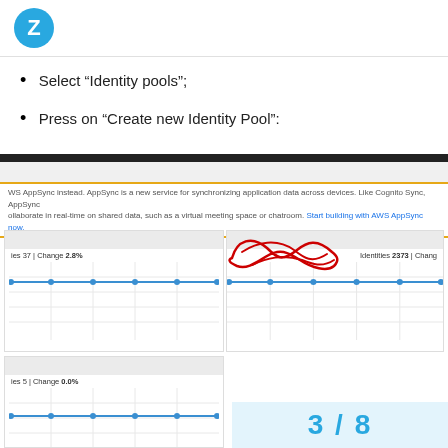Z (logo)
Select “Identity pools”;
Press on “Create new Identity Pool”:
[Figure (screenshot): AWS Cognito console screenshot showing identity pool panels with stats: Identities 37 | Change 2.8% and Identities 2373 | Chang..., each with a line chart. A warning banner about AWS AppSync is visible. A red handwritten scribble annotation overlays the top-right panel. Bottom section shows another panel with Identities 5 | Change 0.0% and a line chart, plus a page number badge showing 3 / 8.]